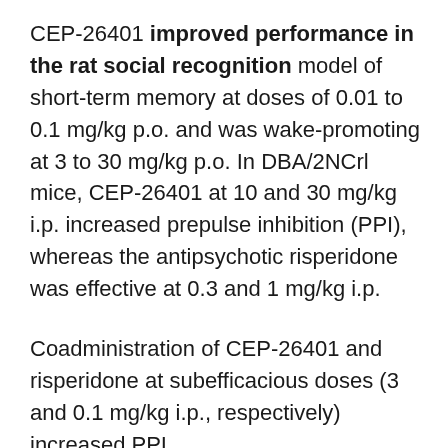CEP-26401 improved performance in the rat social recognition model of short-term memory at doses of 0.01 to 0.1 mg/kg p.o. and was wake-promoting at 3 to 30 mg/kg p.o. In DBA/2NCrl mice, CEP-26401 at 10 and 30 mg/kg i.p. increased prepulse inhibition (PPI), whereas the antipsychotic risperidone was effective at 0.3 and 1 mg/kg i.p.
Coadministration of CEP-26401 and risperidone at subefficacious doses (3 and 0.1 mg/kg i.p., respectively) increased PPI.
These results demonstrate potent behavioral effects of CEP-26401 in rodent models and suggest